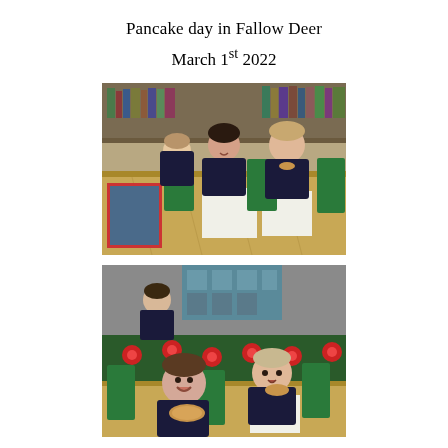Pancake day in Fallow Deer
March 1st 2022
[Figure (photo): Three primary school children in dark school uniforms sitting at a wooden classroom table eating pancakes. Bookshelves and classroom materials visible in the background.]
[Figure (photo): Two young children in dark school uniforms sitting at a classroom table eating pancakes, smiling at the camera. A colorful carpet with red flower pattern visible in the background.]